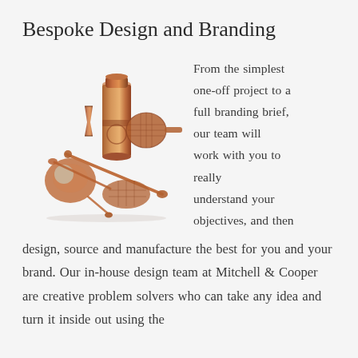Bespoke Design and Branding
[Figure (photo): Copper/rose gold cocktail bar tools set including a cocktail shaker, jigger, strainer, spoon, and other barware accessories arranged together.]
From the simplest one-off project to a full branding brief, our team will work with you to really understand your objectives, and then design, source and manufacture the best for you and your brand. Our in-house design team at Mitchell & Cooper are creative problem solvers who can take any idea and turn it inside out using the